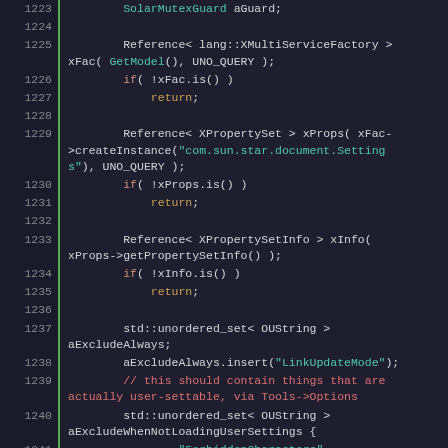[Figure (screenshot): Source code viewer showing C++ code lines 1223-1249 with syntax highlighting. Line numbers in left gutter with green border. Keywords in teal/cyan, string literals in teal, return statements in orange/gold, comments in red.]